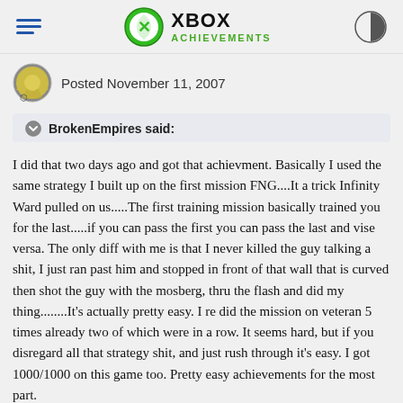XBOX ACHIEVEMENTS
Posted November 11, 2007
BrokenEmpires said:
I did that two days ago and got that achievment. Basically I used the same strategy I built up on the first mission FNG....It a trick Infinity Ward pulled on us.....The first training mission basically trained you for the last.....if you can pass the first you can pass the last and vise versa. The only diff with me is that I never killed the guy talking a shit, I just ran past him and stopped in front of that wall that is curved then shot the guy with the mosberg, thru the flash and did my thing........It's actually pretty easy. I re did the mission on veteran 5 times already two of which were in a row. It seems hard, but if you disregard all that strategy shit, and just rush through it's easy. I got 1000/1000 on this game too. Pretty easy achievements for the most part.